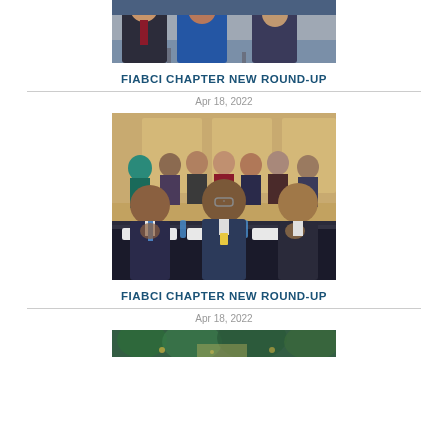[Figure (photo): Cropped top portion of a photo showing people seated, wearing formal attire, partial view of upper bodies]
FIABCI CHAPTER NEW ROUND-UP
Apr 18, 2022
[Figure (photo): Conference photo showing audience seated at tables in a meeting room; three men visible in foreground including one in center with glasses; additional attendees in background rows]
FIABCI CHAPTER NEW ROUND-UP
Apr 18, 2022
[Figure (photo): Partial view of a third photo at bottom of page, showing a green outdoor or rooftop scene]